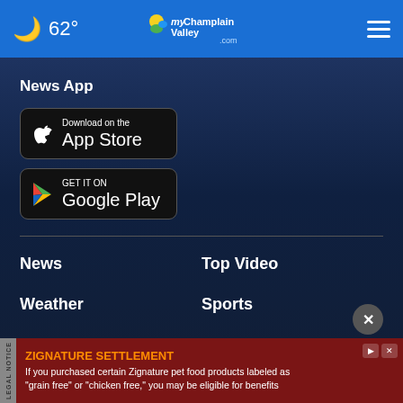62° myChamplainValley.com
News App
[Figure (illustration): Download on the App Store badge (black with Apple logo)]
[Figure (illustration): Get it on Google Play badge (black with Play logo)]
News
Top Video
Weather
Sports
Story Idea
About Us
[Figure (screenshot): Advertisement banner: ZIGNATURE SETTLEMENT - If you purchased certain Zignature pet food products labeled as "grain free" or "chicken free," you may be eligible for benefits]